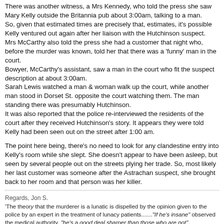There was another witness, a Mrs Kennedy, who told the press she saw Mary Kelly outside the Britannia pub about 3:00am, talking to a man.
So, given that estimated times are precisely that, estimates, it's possible Kelly ventured out again after her liaison with the Hutchinson suspect.
Mrs McCarthy also told the press she had a customer that night who, before the murder was known, told her that there was a 'funny' man in the court.
Bowyer, McCarthy's assistant, saw a man in the court who fit the suspect description at about 3:00am.
Sarah Lewis watched a man & woman walk up the court, while another man stood in Dorset St. opposite the court watching them. The man standing there was presumably Hutchinson.
It was also reported that the police re-interviewed the residents of the court after they received Hutchinson's story. It appears they were told Kelly had been seen out on the street after 1:00 am.
The point here being, there's no need to look for any clandestine entry into Kelly's room while she slept. She doesn't appear to have been asleep, but seen by several people out on the streets plying her trade. So, most likely her last customer was someone after the Astrachan suspect, she brought back to her room and that person was her killer.
Regards, Jon S.
'The theory that the murderer is a lunatic is dispelled by the opinion given to the police by an expert in the treatment of lunacy patients......."If he's insane" observed the medical authority, "he's a good deal sharper than those who are not".
Reynolds Newspaper, 4 Nov. 1888.